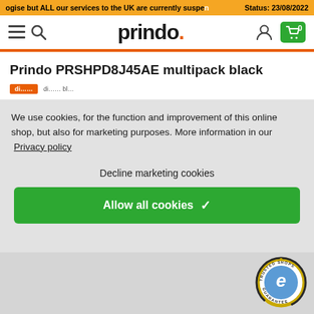ogise but ALL our services to the UK are currently suspended  Status: 23/08/2022
[Figure (logo): Prindo logo with hamburger menu, search icon, user icon, and cart icon showing 0]
Prindo PRSHPD8J45AE multipack black
We use cookies, for the function and improvement of this online shop, but also for marketing purposes. More information in our  Privacy policy
Decline marketing cookies
Allow all cookies ✓
[Figure (logo): Trusted Shops guarantee badge with e-commerce seal]